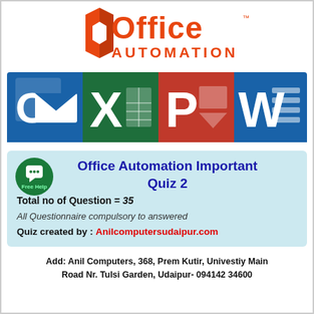[Figure (logo): Microsoft Office Automation logo with red/orange Office logo icon and text 'Office AUTOMATION']
[Figure (illustration): Row of Microsoft Office app icons: Outlook (blue/white O), Excel (green X), PowerPoint (red P), Word (blue W)]
Office Automation Important Quiz 2
Total no of Question = 35
All Questionnaire compulsory to answered
Quiz created by : Anilcomputersudaipur.com
Add: Anil Computers, 368, Prem Kutir, Univestiy Main Road Nr. Tulsi Garden, Udaipur- 094142 34600